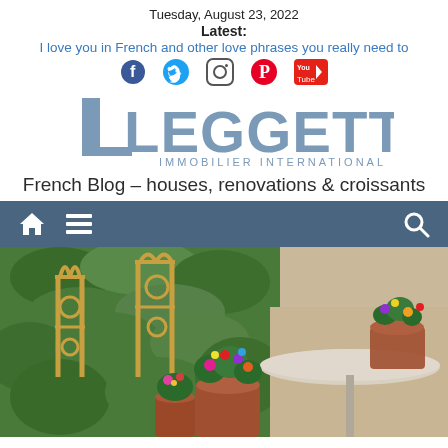Tuesday, August 23, 2022
Latest:
I love you in French and other love phrases you really need to
[Figure (other): Social media icons: Facebook, Twitter, Instagram, Pinterest, YouTube]
[Figure (logo): Leggett Immobilier International logo]
French Blog – houses, renovations & croissants
[Figure (other): Navigation bar with home icon, hamburger menu, and search icon]
[Figure (photo): Outdoor French garden scene with ornate metal chairs, flowering plants in terracotta pots on a table, with ivy-covered wall in background]